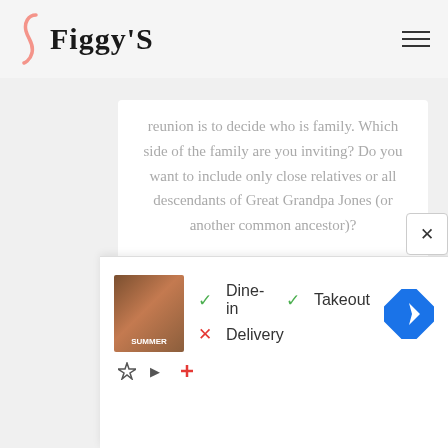Figgy'S
reunion is to decide who is family. Which side of the family are you inviting? Do you want to include only close relatives or all descendants of Great Grandpa Jones (or another common ancestor)?
READ MORE
[Figure (photo): Product image showing a white book or notebook against a muted teal/blue-grey background]
[Figure (screenshot): Advertisement overlay showing restaurant info: Dine-in (checkmark), Takeout (checkmark), Delivery (X mark), with a food image and navigation icon]